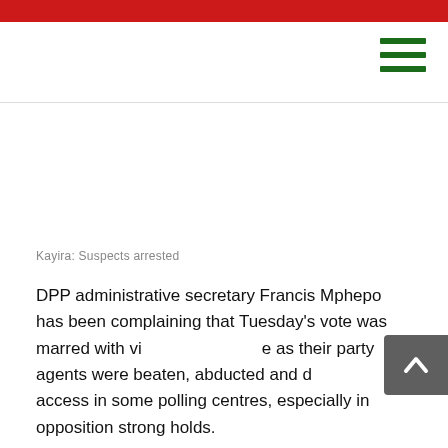Kayira: Suspects arrested
DPP administrative secretary Francis Mphepo has been complaining that Tuesday's vote was marred with violence as their party agents were beaten, abducted and denied access in some polling centres, especially in opposition strong holds.
Addressing the media at the National Tally Centre in Blantyre, Kachale said the Commission received a complaint from DPP regarding "various incidences